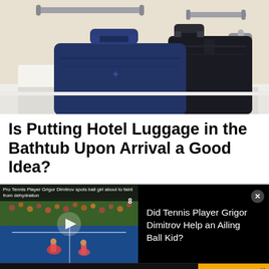[Figure (photo): Two pieces of luggage (one blue, one black) sitting inside a hotel bathtub, with grab bars visible on the wall above.]
Is Putting Hotel Luggage in the Bathtub Upon Arrival a Good Idea?
[Figure (screenshot): Video advertisement showing Pro Tennis Player Grigor Dimitrov spots ball girl about to faint from dehydration. Number 8 shown. Video thumbnail shows a tennis court scene with players in red. Play button overlay visible.]
Did Tennis Player Grigor Dimitrov Help an Ailing Ball Kid?
Breaking: One Year at the Center of the Infodemic READ MORE ON SNOPES